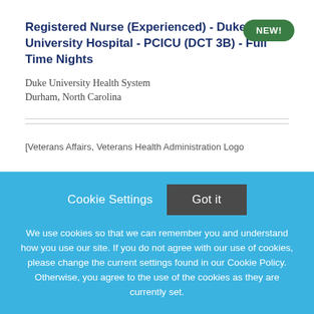Registered Nurse (Experienced) - Duke University Hospital - PCICU (DCT 3B) - Full Time Nights
Duke University Health System
Durham, North Carolina
[Figure (logo): Veterans Affairs, Veterans Health Administration Logo (broken image)]
Cookie Settings   Got it
We use cookies so that we can remember you and understand how you use our site. If you do not agree with our use of cookies, please change the current settings found in our Cookie Policy. Otherwise, you agree to the use of the cookies as they are currently set.